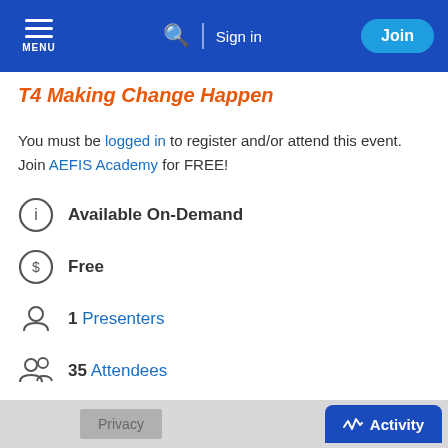MENU | Search | Sign in | Join
T4 Making Change Happen
You must be logged in to register and/or attend this event. Join AEFIS Academy for FREE!
Available On-Demand
Free
1 Presenters
35 Attendees
3 Discussion(s)
Privacy | Activity